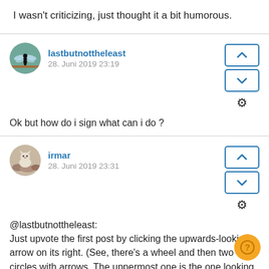I wasn't criticizing, just thought it a bit humorous.
lastbutnoattheleast
28. Juni 2019 23:19
Ok but how do i sign what can i do ?
irmar
28. Juni 2019 23:31
@lastbutnoattheleast:
Just upvote the first post by clicking the upwards-looking arrow on its right. (See, there's a wheel and then two circles with arrows. The uppermost one is the one looking up, the one that you click if you want to